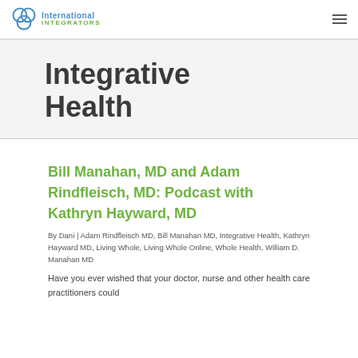International Integrators
Integrative Health
Bill Manahan, MD and Adam Rindfleisch, MD: Podcast with Kathryn Hayward, MD
By Dani | Adam Rindfleisch MD, Bill Manahan MD, Integrative Health, Kathryn Hayward MD, Living Whole, Living Whole Online, Whole Health, William D. Manahan MD
Have you ever wished that your doctor, nurse and other health care practitioners could...